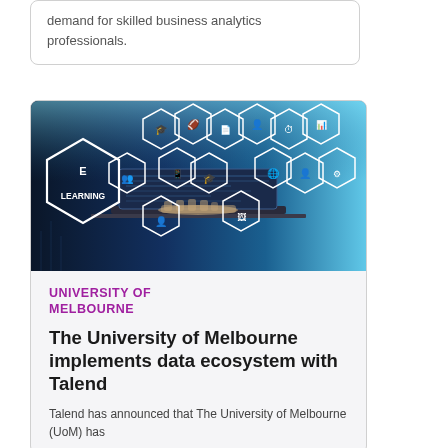demand for skilled business analytics professionals.
[Figure (photo): E-Learning concept photo: hands typing on a laptop keyboard with glowing hexagonal icons showing education and technology symbols (graduation cap, globe, people, devices) floating above, on a dark blue digital background with the text 'E LEARNING' in a hexagon on the left.]
UNIVERSITY OF MELBOURNE
The University of Melbourne implements data ecosystem with Talend
Talend has announced that The University of Melbourne (UoM) has